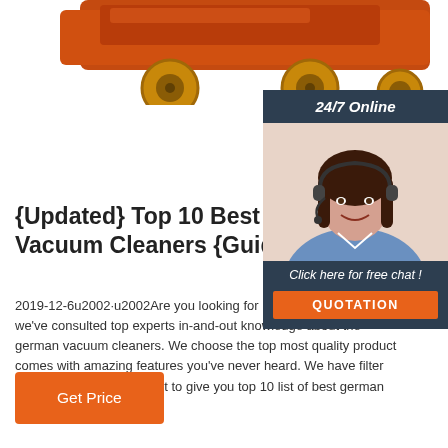[Figure (photo): Partial view of orange construction/industrial equipment (appears to be a forklift or similar machinery) with large yellow wheels, cropped at top of page]
[Figure (photo): 24/7 Online chat widget sidebar showing a female customer service representative wearing a headset, with dark blue background, 'Click here for free chat!' text, and orange QUOTATION button]
{Updated} Top 10 Best German Vacuum Cleaners {Guide ...
2019-12-6u2002·u2002Are you looking for best vacuum cleaners, we've consulted top experts in-and-out knowledge about the german vacuum cleaners. We choose the top most quality product comes with amazing features you've never heard. We have filter more than 100+ of product to give you top 10 list of best german vacuum cleaners.
Get Price